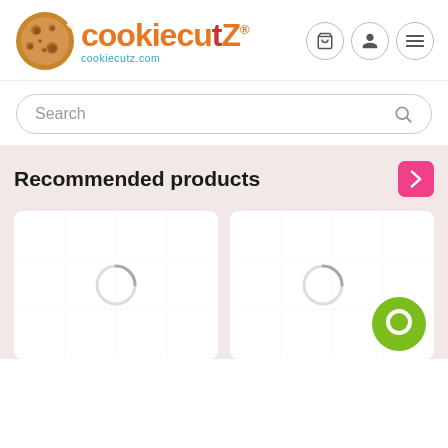[Figure (logo): CookieCutz logo with cookie icon and colorful text 'cookiecutZ' with registered trademark symbol, and URL 'cookiecutz.com' below]
[Figure (screenshot): Navigation icons: shopping cart, user profile, and hamburger menu — each in circular outlined buttons]
[Figure (screenshot): Search bar with rounded border and search icon on the right]
Recommended products
[Figure (screenshot): Two product cards side by side with loading spinners, second card has a green chat bubble icon in bottom right corner]